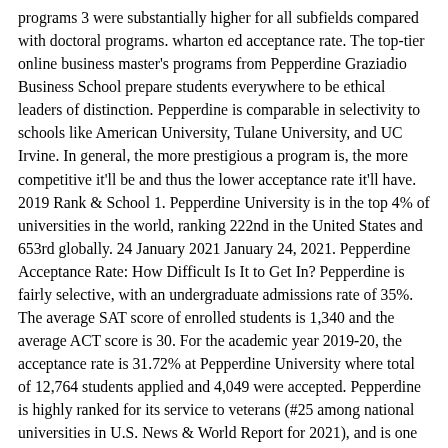programs 3 were substantially higher for all subfields compared with doctoral programs. wharton ed acceptance rate. The top-tier online business master's programs from Pepperdine Graziadio Business School prepare students everywhere to be ethical leaders of distinction. Pepperdine is comparable in selectivity to schools like American University, Tulane University, and UC Irvine. In general, the more prestigious a program is, the more competitive it'll be and thus the lower acceptance rate it'll have. 2019 Rank & School 1. Pepperdine University is in the top 4% of universities in the world, ranking 222nd in the United States and 653rd globally. 24 January 2021 January 24, 2021. Pepperdine Acceptance Rate: How Difficult Is It to Get In? Pepperdine is fairly selective, with an undergraduate admissions rate of 35%. The average SAT score of enrolled students is 1,340 and the average ACT score is 30. For the academic year 2019-20, the acceptance rate is 31.72% at Pepperdine University where total of 12,764 students applied and 4,049 were accepted. Pepperdine is highly ranked for its service to veterans (#25 among national universities in U.S. News & World Report for 2021), and is one of only two faith-based universities in the top 25. Asia Global Scientists and Engineers Program (GSEP) for Undergraduate Fully Funded MEXT Scholarship 2020. As an innovator in the field of psychology and related behavioral science 1979, the Chicago School of Professional Psychology is a not-for-profit, accredited institution with more than 4,300 students. Find out how Pepperdine can help you reach your professional goals.